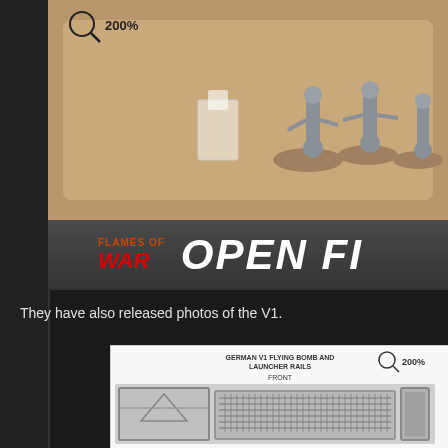[Figure (photo): Photo of Flames of War miniature soldiers on a brown plastic sprue/tray, with a 200% zoom magnifier icon overlay. Below the miniatures photo is a banner showing the 'Flames of War Open Fire' logo with red stylized text.]
They have also released photos of the V1.
[Figure (photo): Photo of a model kit sprue labeled 'GERMAN V1 FLYING BOMB AND LAUNCHER RAILS' showing the front view, with a 200% zoom magnifier icon. The sprue contains grey plastic parts including what appears to be a V1 flying bomb and launcher rail components.]